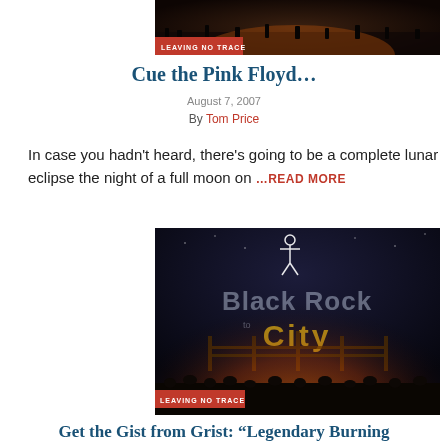[Figure (photo): Dark crowd scene at night with orange glow, labeled 'LEAVING NO TRACE' in red banner]
Cue the Pink Floyd…
August 7, 2007
By Tom Price
In case you hadn't heard, there's going to be a complete lunar eclipse the night of a full moon on …READ MORE
[Figure (photo): Black Rock City night scene with illuminated figure on platform, crowd and warm orange glow, labeled 'LEAVING NO TRACE' in red banner]
Get the Gist from Grist: "Legendary Burning